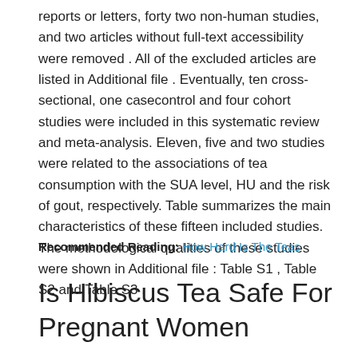reports or letters, forty two non-human studies, and two articles without full-text accessibility were removed . All of the excluded articles are listed in Additional file . Eventually, ten cross-sectional, one casecontrol and four cohort studies were included in this systematic review and meta-analysis. Eleven, five and two studies were related to the associations of tea consumption with the SUA level, HU and the risk of gout, respectively. Table summarizes the main characteristics of these fifteen included studies. The methodological qualities of these studies were shown in Additional file : Table S1 , Table S2 and Table S3 .
Recommended Reading: How Hard Is The Teas
Is Hibiscus Tea Safe For Pregnant Women